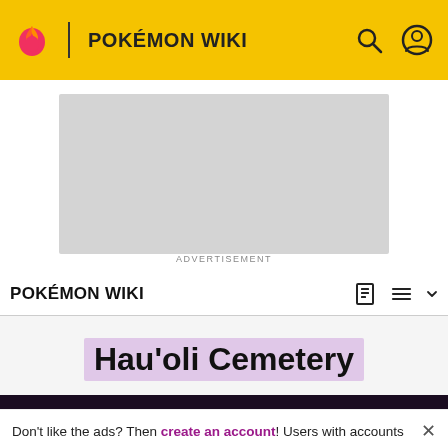POKÉMON WIKI
[Figure (screenshot): Advertisement placeholder box (grey rectangle)]
ADVERTISEMENT
POKÉMON WIKI
Hau'oli Cemetery
Don't like the ads? Then create an account! Users with accounts will only see ads on the Main Page and have more options than anonymous users.